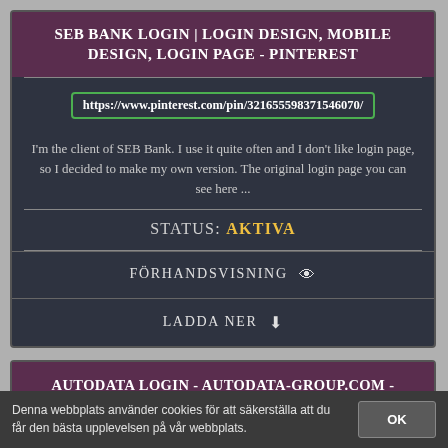SEB BANK LOGIN | LOGIN DESIGN, MOBILE DESIGN, LOGIN PAGE - PINTEREST
https://www.pinterest.com/pin/321655598371546070/
I'm the client of SEB Bank. I use it quite often and I don't like login page, so I decided to make my own version. The original login page you can see here ...
STATUS: AKTIVA
FÖRHANDSVISNING
LADDA NER
AUTODATA LOGIN - AUTODATA-GROUP.COM - ONLINE | LOGIN, LOGIN PAGE ...
Denna webbplats använder cookies för att säkerställa att du får den bästa upplevelsen på vår webbplats.